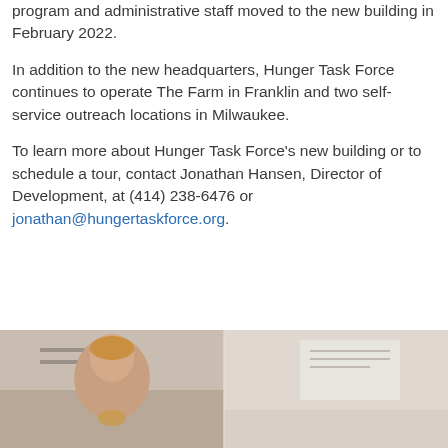program and administrative staff moved to the new building in February 2022.
In addition to the new headquarters, Hunger Task Force continues to operate The Farm in Franklin and two self-service outreach locations in Milwaukee.
To learn more about Hunger Task Force's new building or to schedule a tour, contact Jonathan Hansen, Director of Development, at (414) 238-6476 or jonathan@hungertaskforce.org.
[Figure (photo): Partial photograph showing two people in what appears to be an indoor setting, cropped at the bottom of the page.]